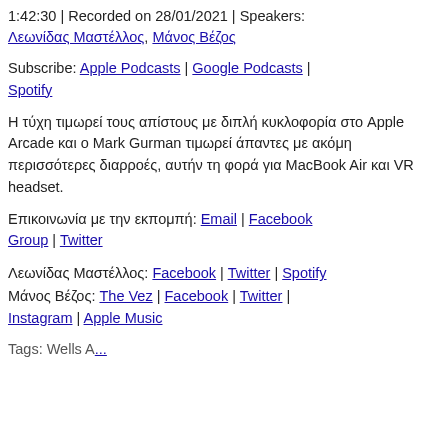1:42:30 | Recorded on 28/01/2021 | Speakers: Λεωνίδας Μαστέλλος, Μάνος Βέζος
Subscribe: Apple Podcasts | Google Podcasts | Spotify
Η τύχη τιμωρεί τους απίστους με διπλή κυκλοφορία στο Apple Arcade και ο Mark Gurman τιμωρεί άπαντες με ακόμη περισσότερες διαρροές, αυτήν τη φορά για MacBook Air και VR headset.
Επικοινωνία με την εκπομπή: Email | Facebook Group | Twitter
Λεωνίδας Μαστέλλος: Facebook | Twitter | Spotify
Μάνος Βέζος: The Vez | Facebook | Twitter | Instagram | Apple Music
Tags: Wells A...